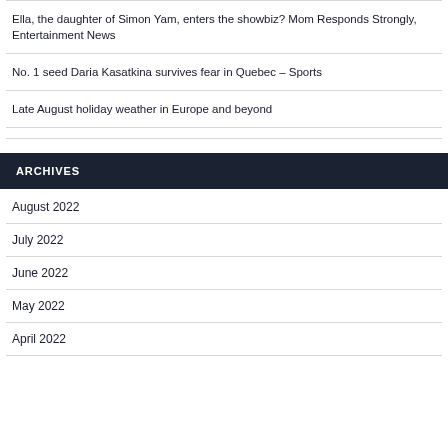Ella, the daughter of Simon Yam, enters the showbiz? Mom Responds Strongly, Entertainment News
No. 1 seed Daria Kasatkina survives fear in Quebec – Sports
Late August holiday weather in Europe and beyond
ARCHIVES
August 2022
July 2022
June 2022
May 2022
April 2022